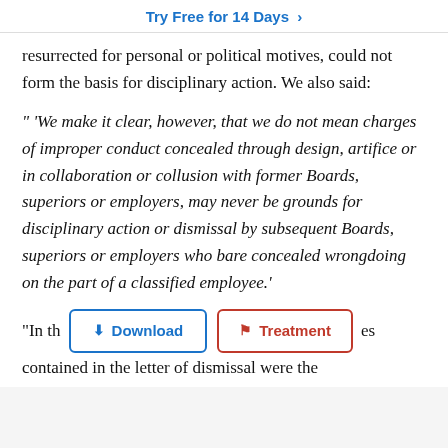Try Free for 14 Days >
resurrected for personal or political motives, could not form the basis for disciplinary action. We also said:
" ‘We make it clear, however, that we do not mean charges of improper conduct concealed through design, artifice or in collaboration or collusion with former Boards, superiors or employers, may never be grounds for disciplinary action or dismissal by subsequent Boards, superiors or employers who bare concealed wrongdoing on the part of a classified employee.’
“In th[e charges ab]ou[t which complain]es contained in the letter of dismissal were the